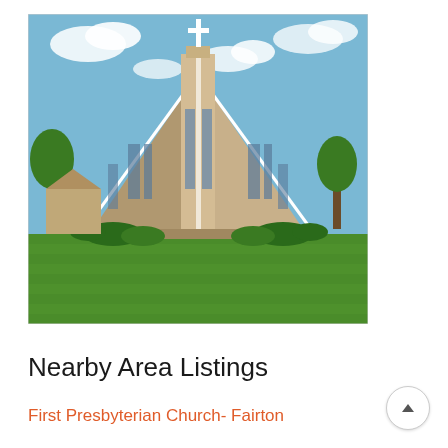[Figure (photo): Exterior photograph of First Presbyterian Church in Fairton — a modern brick church building with a tall central steeple topped with a white cross, A-frame style sloped rooflines on either side, large vertical windows, and a green lawn in the foreground under a partly cloudy sky.]
Nearby Area Listings
First Presbyterian Church- Fairton